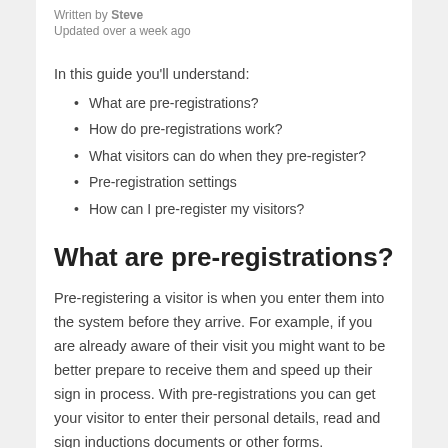Written by Steve
Updated over a week ago
In this guide you'll understand:
What are pre-registrations?
How do pre-registrations work?
What visitors can do when they pre-register?
Pre-registration settings
How can I pre-register my visitors?
What are pre-registrations?
Pre-registering a visitor is when you enter them into the system before they arrive. For example, if you are already aware of their visit you might want to be better prepare to receive them and speed up their sign in process. With pre-registrations you can get your visitor to enter their personal details, read and sign inductions documents or other forms.